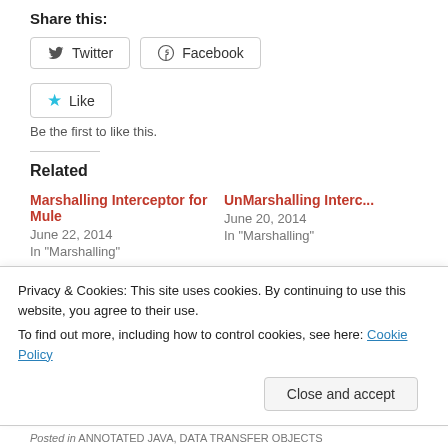Share this:
[Figure (other): Twitter and Facebook share buttons]
[Figure (other): Like button with star icon]
Be the first to like this.
Related
Marshalling Interceptor for Mule
June 22, 2014
In "Marshalling"
UnMarshalling Interc...
June 20, 2014
In "Marshalling"
Auto-Generate Example of JSON or XML objects
June 22, 2014
Privacy & Cookies: This site uses cookies. By continuing to use this website, you agree to their use.
To find out more, including how to control cookies, see here: Cookie Policy
Posted in ANNOTATED JAVA, DATA TRANSFER OBJECTS